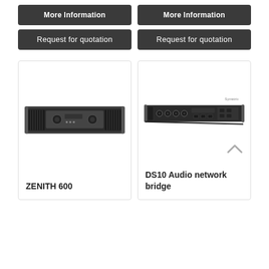[Figure (other): Dark gray button labeled 'More Information' for first product (top-left)]
[Figure (other): Dark gray button labeled 'Request for quotation' for first product (top-left)]
[Figure (other): Dark gray button labeled 'More Information' for second product (top-right)]
[Figure (other): Dark gray button labeled 'Request for quotation' for second product (top-right)]
[Figure (photo): Photo of ZENITH 600 power amplifier, black rack-mount unit with ventilation and control knobs]
ZENITH 600
[Figure (photo): Photo of DS10 Audio network bridge, black rack-mount unit with multiple ports and connectors, with scroll-up arrow overlay]
DS10 Audio network bridge